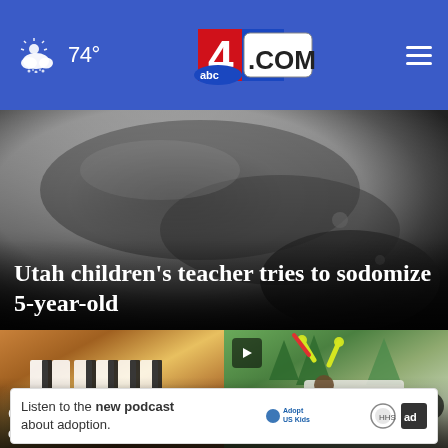74° — abc4.com
[Figure (screenshot): Close-up photo of a dark object, appears to be a shoe or leather item, blurred]
Utah children's teacher tries to sodomize 5-year-old
[Figure (photo): Close-up of piano keys, blurred bokeh]
Couple on 1st dat... into church to
[Figure (photo): Man juggling yellow batons outdoors near a vehicle, with a child watching]
...celebrates 00th
Listen to the new podcast about adoption.